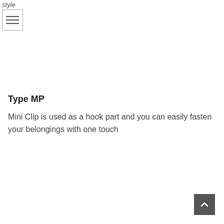style
Type MP
Mini Clip is used as a hook part and you can easily fasten your belongings with one touch